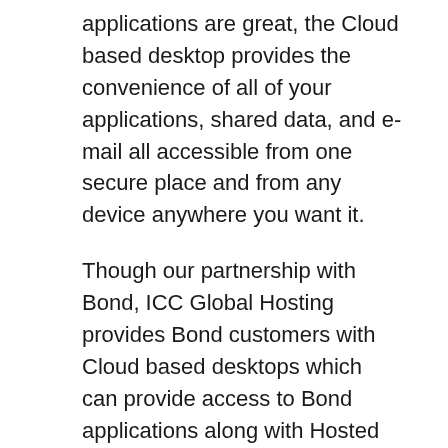applications are great, the Cloud based desktop provides the convenience of all of your applications, shared data, and e-mail all accessible from one secure place and from any device anywhere you want it.
Though our partnership with Bond, ICC Global Hosting provides Bond customers with Cloud based desktops which can provide access to Bond applications along with Hosted e-mail, Microsoft Office applications, and shared storage. This solution designed for the staffing and recruiting industry delivers a centralized desktop with all of your applications and data from essentially any device and from anywhere you have a reliable Internet connection. ICC's Cloud based desktops have a secure